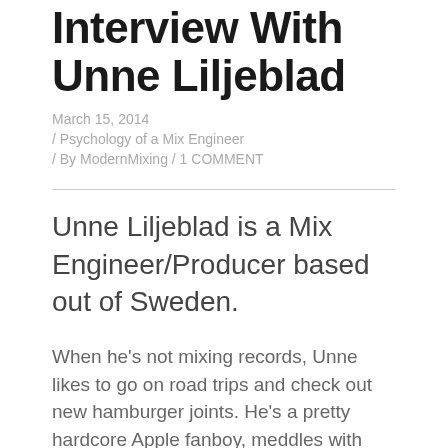Interview With Unne Liljeblad
March 15, 2014
/ Psychology of a Mix Engineer
/ By ModernMixing / 1 COMMENT
Unne Liljeblad is a Mix Engineer/Producer based out of Sweden.
When he's not mixing records, Unne likes to go on road trips and check out new hamburger joints. He's a pretty hardcore Apple fanboy, meddles with Bitcoin and Litecoin